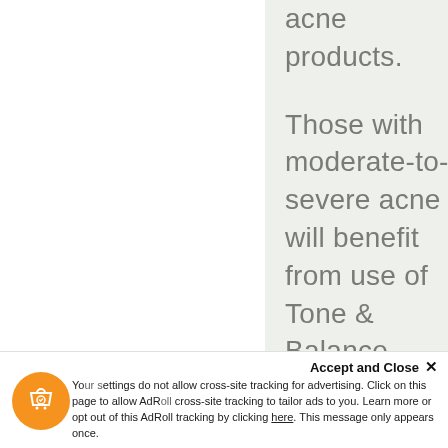acne products.
Those with moderate-to-severe acne will benefit from use of Tone & Balance throughout the day to keep skin
Accept and Close ✕
Your settings do not allow cross-site tracking for advertising. Click on this page to allow AdRoll cross-site tracking to tailor ads to you. Learn more or opt out of this AdRoll tracking by clicking here. This message only appears once.